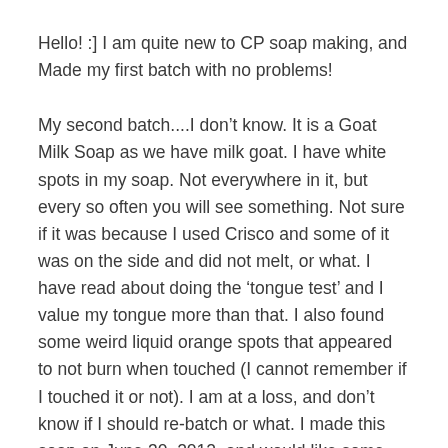Hello! :] I am quite new to CP soap making, and Made my first batch with no problems!
My second batch....I don’t know. It is a Goat Milk Soap as we have milk goat. I have white spots in my soap. Not everywhere in it, but every so often you will see something. Not sure if it was because I used Crisco and some of it was on the side and did not melt, or what. I have read about doing the ‘tongue test’ and I value my tongue more than that. I also found some weird liquid orange spots that appeared to not burn when touched (I cannot remember if I touched it or not). I am at a loss, and don’t know if I should re-batch or what. I made this soap on June 30, 2012, and would like some assistance, :]
By the way, I LOVE your websites and book on Milk